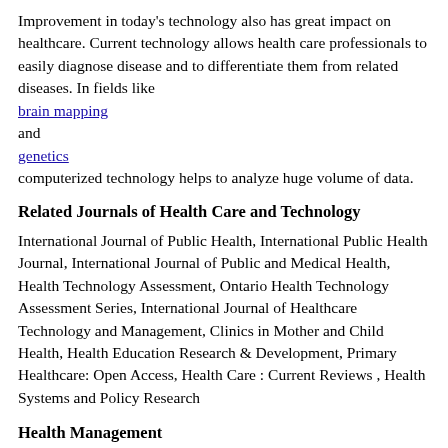Improvement in today's technology also has great impact on healthcare. Current technology allows health care professionals to easily diagnose disease and to differentiate them from related diseases. In fields like
brain mapping
and
genetics
computerized technology helps to analyze huge volume of data.
Related Journals of Health Care and Technology
International Journal of Public Health, International Public Health Journal, International Journal of Public and Medical Health, Health Technology Assessment, Ontario Health Technology Assessment Series, International Journal of Healthcare Technology and Management, Clinics in Mother and Child Health, Health Education Research & Development, Primary Healthcare: Open Access, Health Care : Current Reviews , Health Systems and Policy Research
Health Management
An effective
health management
will provide easy, effective and affordable access of health care to